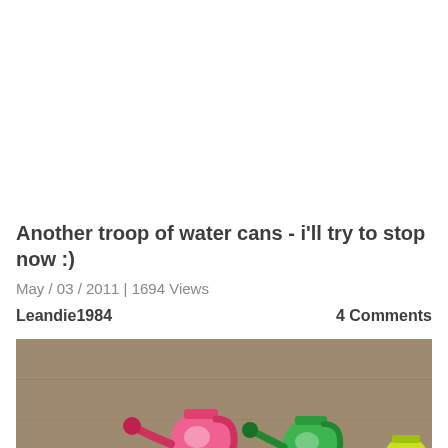Another troop of water cans - i'll try to stop now :)
May / 03 / 2011 | 1694 Views
Leandie1984
4 Comments
[Figure (photo): Colorful miniature watering cans (pink and green) photographed on a brown/tan textured surface background]